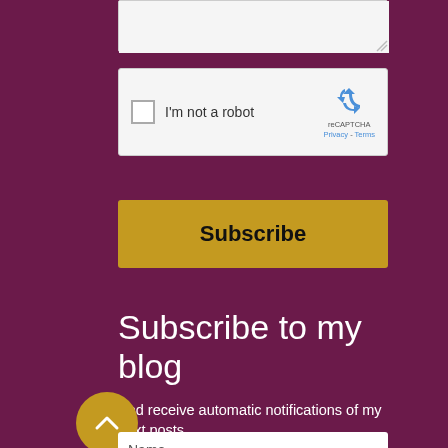[Figure (screenshot): Partial textarea form field visible at top of page]
[Figure (screenshot): reCAPTCHA widget with checkbox labeled 'I'm not a robot' and reCAPTCHA logo with Privacy and Terms links]
Subscribe
Subscribe to my blog
And receive automatic notifications of my next posts.
[Figure (other): Gold circular back-to-top button with upward chevron arrow]
Name